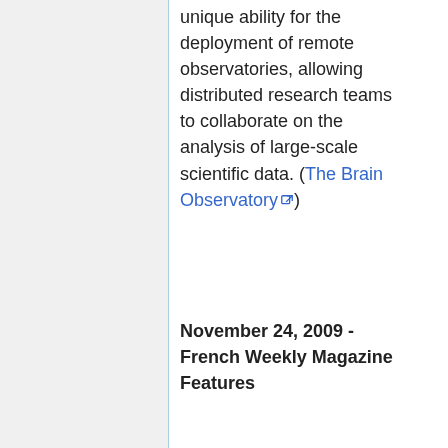unique ability for the deployment of remote observatories, allowing distributed research teams to collaborate on the analysis of large-scale scientific data. (The Brain Observatory)
November 24, 2009 - French Weekly Magazine Features...